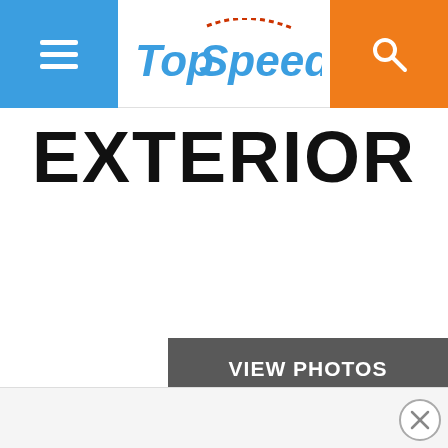TopSpeed
EXTERIOR
[Figure (other): VIEW PHOTOS button - dark gray rectangle with white text]
[Figure (other): Bottom advertisement bar with close (X) circle button]